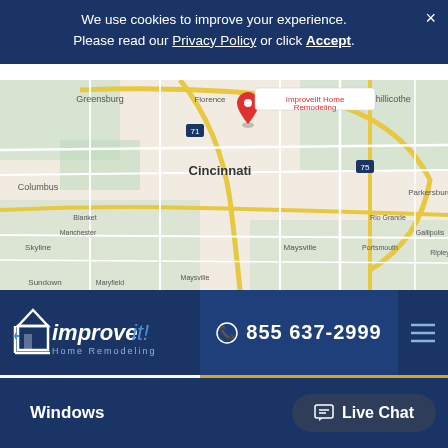We use cookies to improve your experience. Please read our Privacy Policy or click Accept.
[Figure (map): Google Maps showing Cincinnati area with a red pin marker labeled 'ImproveiIt Home Remodeling']
[Figure (logo): ImproveiIt Home Remodeling logo — white house icon with 'improve it!' text on dark blue background]
855 637-2999
Schedule Now
Related Information
Replacement Windows
Your CBus Top Pick for Home Remodeling Columbus Ohio
Cincinnati Home Remodeling
Windows
Live Chat